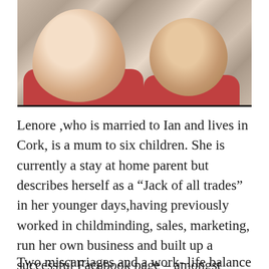[Figure (photo): A selfie-style photo of a woman on the left smiling at the camera, and a young child on the right also smiling, both appearing to lie down or lean together. The image is slightly desaturated/faded and cropped at the top.]
Lenore ,who is married to Ian and lives in Cork, is a mum to six children. She is currently a stay at home parent but describes herself as a “Jack of all trades” in her younger days,having previously worked in childminding, sales, marketing, run her own business and built up a successful Facebook page – amongst other roles.
Two miscarriages and a work- life balance that